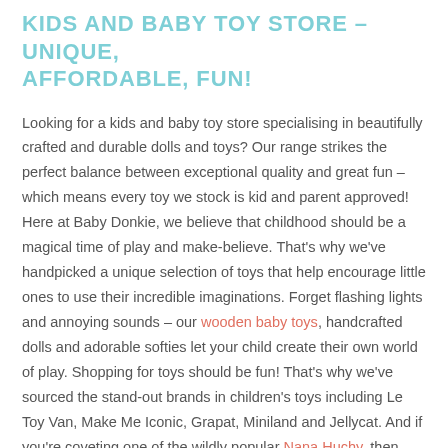KIDS AND BABY TOY STORE – UNIQUE, AFFORDABLE, FUN!
Looking for a kids and baby toy store specialising in beautifully crafted and durable dolls and toys? Our range strikes the perfect balance between exceptional quality and great fun – which means every toy we stock is kid and parent approved! Here at Baby Donkie, we believe that childhood should be a magical time of play and make-believe. That's why we've handpicked a unique selection of toys that help encourage little ones to use their incredible imaginations. Forget flashing lights and annoying sounds – our wooden baby toys, handcrafted dolls and adorable softies let your child create their own world of play. Shopping for toys should be fun! That's why we've sourced the stand-out brands in children's toys including Le Toy Van, Make Me Iconic, Grapat, Miniland and Jellycat. And if you're coveting one of the wildly popular Nana Huchy, then you'll love our range of these sweet heirloom-quality soft dolls. It's all here in one...